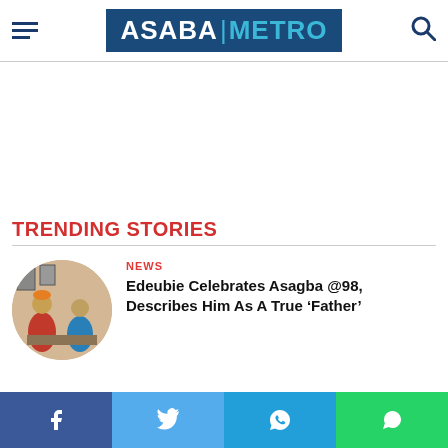ASABA METRO
TRENDING STORIES
[Figure (photo): Circular thumbnail photo showing people in traditional/colorful attire in an indoor setting]
NEWS
Edeubie Celebrates Asagba @98, Describes Him As A True ‘Father’